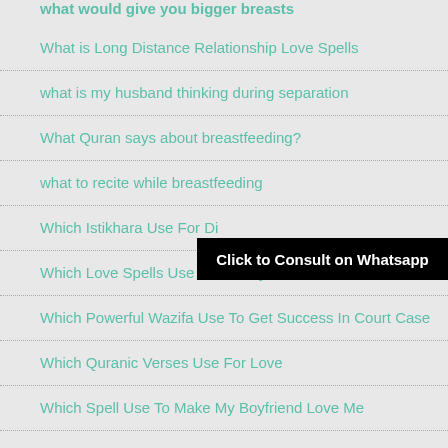what would give you bigger breasts (partial, top cropped)
What is Long Distance Relationship Love Spells
what is my husband thinking during separation
What Quran says about breastfeeding?
what to recite while breastfeeding
Which Istikhara Use For Di... (partially obscured)
[Figure (other): Black banner overlay reading 'Click to Consult on Whatsapp']
Which Love Spells Use To Get My Husband Back
Which Powerful Wazifa Use To Get Success In Court Case
Which Quranic Verses Use For Love
Which Spell Use To Make My Boyfriend Love Me